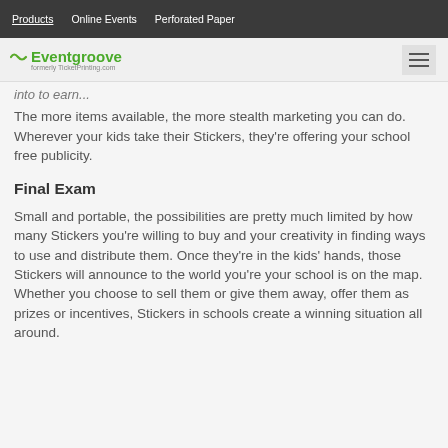Products   Online Events   Perforated Paper
[Figure (logo): Eventgroove logo with tilde wave icon, formerly TicketPrinting.com, with hamburger menu icon on right]
into to earn...
The more items available, the more stealth marketing you can do. Wherever your kids take their Stickers, they're offering your school free publicity.
Final Exam
Small and portable, the possibilities are pretty much limited by how many Stickers you're willing to buy and your creativity in finding ways to use and distribute them. Once they're in the kids' hands, those Stickers will announce to the world you're your school is on the map. Whether you choose to sell them or give them away, offer them as prizes or incentives, Stickers in schools create a winning situation all around.